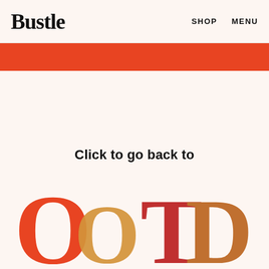Bustle   SHOP   MENU
[Figure (illustration): Orange/red horizontal banner bar]
Click to go back to
[Figure (logo): Large stylized OOTD letters in overlapping orange, red, gold, and brown colors]